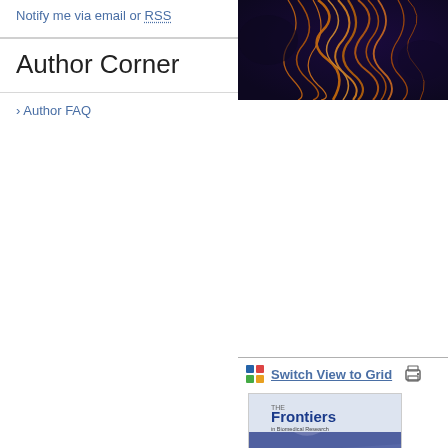Notify me via email or RSS
Author Corner
Author FAQ
[Figure (photo): Microscopy or nature photograph showing orange fibrous structures against a dark purple/black background, cropped at the top of the right column]
Switch View to Grid
[Figure (photo): Journal cover of 'Frontiers in Biomedical Research' showing blue spherical structures (possibly cells or molecules) against a purple/blue wavy background]